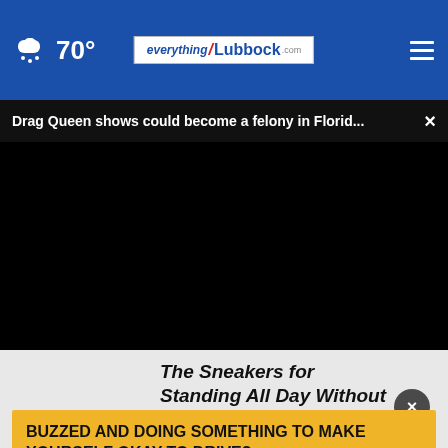70° everything/lubbock.com
Drag Queen shows could become a felony in Florid... ×
[Figure (screenshot): Black video player area with playback controls: play button, mute icon, timestamp 00:00, captions button, fullscreen button, and progress bar with white dot at start.]
The Sneakers for Standing All Day Without Discomfort - Now 50% off
BUZZED AND DOING SOMETHING TO MAKE YOURSELF OKAY TO DRIVE?